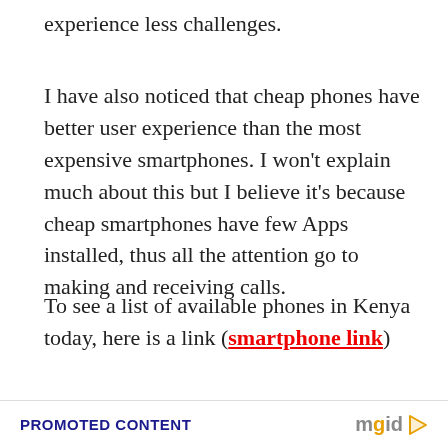experience less challenges.
I have also noticed that cheap phones have better user experience than the most expensive smartphones. I won't explain much about this but I believe it's because cheap smartphones have few Apps installed, thus all the attention go to making and receiving calls.
To see a list of available phones in Kenya today, here is a link (smartphone link)
PROMOTED CONTENT   mgid